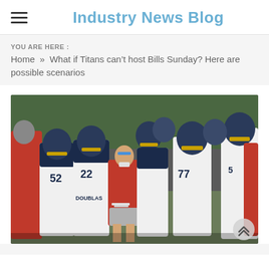Industry News Blog
YOU ARE HERE :
Home » What if Titans can't host Bills Sunday? Here are possible scenarios
[Figure (photo): A football coach in a red long-sleeve shirt and gray shorts stands on a practice field, holding papers and wearing a mask around his chin. He is surrounded by Tennessee Titans players wearing navy and gray helmets and white practice jerseys. The setting appears to be an outdoor training camp practice.]